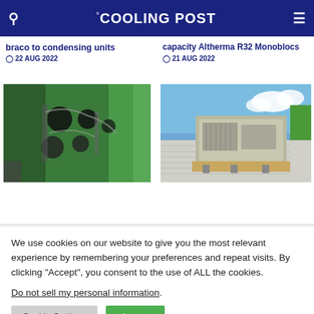COOLING POST
braco to condensing units
22 AUG 2022
capacity Altherma R32 Monoblocs
21 AUG 2022
[Figure (photo): Green industrial refrigeration unit with black components mounted on wall]
[Figure (photo): Rooftop HVAC unit on white corrugated roof against blue sky with green fence]
We use cookies on our website to give you the most relevant experience by remembering your preferences and repeat visits. By clicking “Accept”, you consent to the use of ALL the cookies.
Do not sell my personal information.